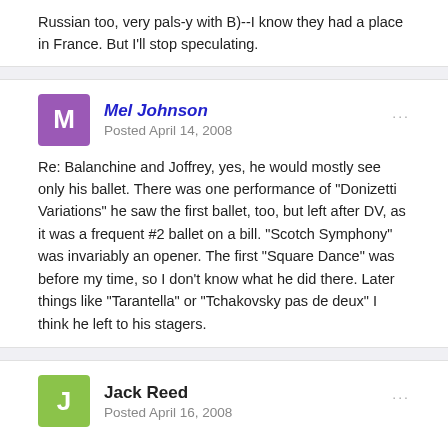Russian too, very pals-y with B)--I know they had a place in France. But I'll stop speculating.
Mel Johnson
Posted April 14, 2008
Re: Balanchine and Joffrey, yes, he would mostly see only his ballet. There was one performance of "Donizetti Variations" he saw the first ballet, too, but left after DV, as it was a frequent #2 ballet on a bill. "Scotch Symphony" was invariably an opener. The first "Square Dance" was before my time, so I don't know what he did there. Later things like "Tarantella" or "Tchakovsky pas de deux" I think he left to his stagers.
Jack Reed
Posted April 16, 2008
When he was here to set an earlier version of Walpurgisnacht Ballet